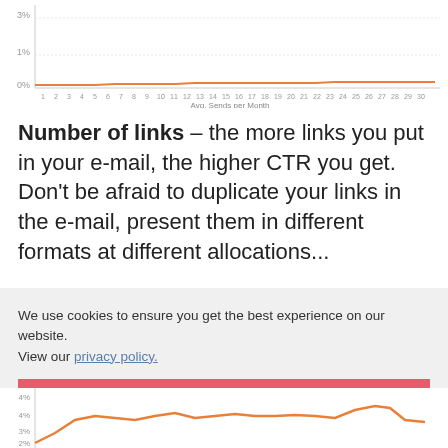[Figure (continuous-plot): Top portion of a line chart showing a mostly flat line near 0%-1% range, with x-axis labeled 'Avg. Sends per Month' with ticks 1-30, and y-axis showing 0% to ~3%.]
Number of links – the more links you put in your e-mail, the higher CTR you get. Don't be afraid to duplicate your links in the e-mail, present them in different formats at different allocations...
We use cookies to ensure you get the best experience on our website. View our privacy policy.
Got it!
[Figure (continuous-plot): Bottom portion of a line chart with orange line showing CTR values ranging approximately 2%-5%, trending with peaks and valleys across multiple data points.]